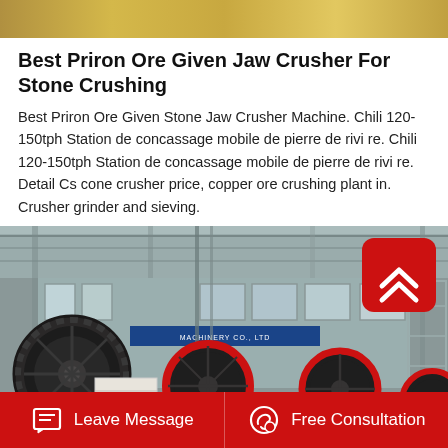[Figure (photo): Top banner image showing yellow/gold industrial equipment or surface]
Best Priron Ore Given Jaw Crusher For Stone Crushing
Best Priron Ore Given Stone Jaw Crusher Machine. Chili 120-150tph Station de concassage mobile de pierre de rivi re. Chili 120-150tph Station de concassage mobile de pierre de rivi re. Detail Cs cone crusher price, copper ore crushing plant in. Crusher grinder and sieving.
[Figure (photo): Factory interior showing multiple jaw crusher machines with large black and red flywheels, white body frames, on factory floor. A red back-to-top button with chevron icon overlaid in top-right corner.]
Leave Message   Free Consultation